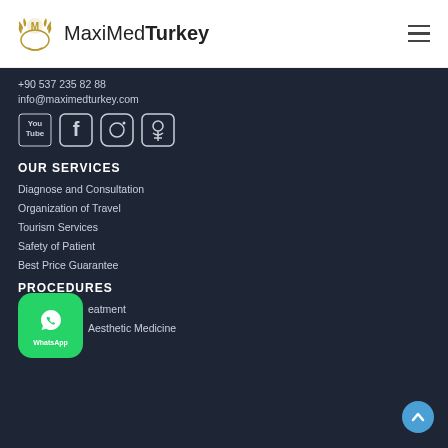[Figure (logo): MaxiMed Turkey logo with laurel wreath icon and text]
+90 537 235 82 88
info@maximedturkey.com
[Figure (illustration): Social media icons: YouTube, Facebook, Instagram, Odnoklassniki]
OUR SERVICES
Diagnose and Consultation
Organization of Travel
Tourism Services
Safety of Patient
Best Price Guarantee
PROCEDURES
… eatment
Aesthetic Medicine